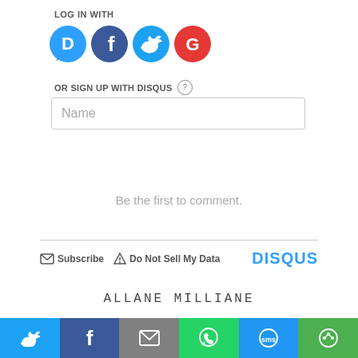LOG IN WITH
[Figure (other): Social login icons: Disqus (blue speech bubble with D), Facebook (dark blue circle with f), Twitter (light blue circle with bird), Google (red circle with G)]
OR SIGN UP WITH DISQUS ?
Name
Be the first to comment.
Subscribe  Do Not Sell My Data   DISQUS
ALLANE MILLIANE
[Figure (other): Share bar with 6 buttons: Twitter (light blue), Facebook (dark blue), Email (gray), WhatsApp (green), SMS (blue), Other (green)]